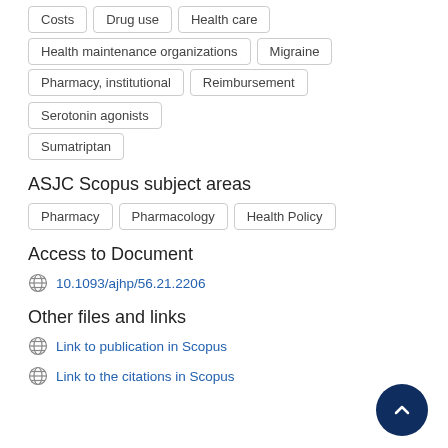Costs | Drug use | Health care
Health maintenance organizations | Migraine
Pharmacy, institutional | Reimbursement | Serotonin agonists
Sumatriptan
ASJC Scopus subject areas
Pharmacy | Pharmacology | Health Policy
Access to Document
10.1093/ajhp/56.21.2206
Other files and links
Link to publication in Scopus
Link to the citations in Scopus